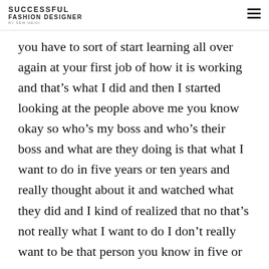SUCCESSFUL FASHION DESIGNER BY SEW HEIDI
you have to sort of start learning all over again at your first job of how it is working and that’s what I did and then I started looking at the people above me you know okay so who’s my boss and who’s their boss and what are they doing is that what I want to do in five years or ten years and really thought about it and watched what they did and I kind of realized that no that’s not really what I want to do I don’t really want to be that person you know in five or ten
Hi!! Heidi here 👋! What's your #1 goal in fashion (so I can show you the best content)?
Click to answer